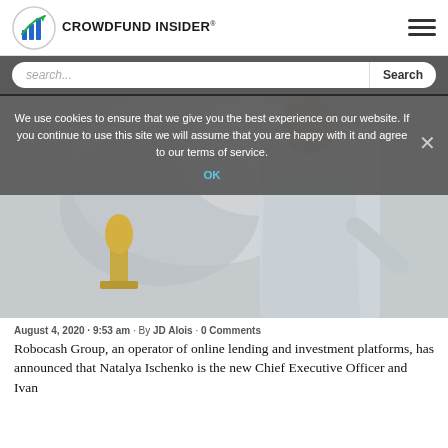CROWDFUND INSIDER®
search...
[Figure (photo): Person in light gray blazer standing near a gold trophy statue, in front of a sculptural background]
We use cookies to ensure that we give you the best experience on our website. If you continue to use this site we will assume that you are happy with it and agree to our terms of service.
August 4, 2020 · 9:53 am · By JD Alois · 0 Comments
Robocash Group, an operator of online lending and investment platforms, has announced that Natalya Ischenko is the new Chief Executive Officer and Ivan